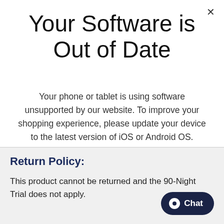Your Software is Out of Date
Your phone or tablet is using software unsupported by our website. To improve your shopping experience, please update your device to the latest version of iOS or Android OS.
Return Policy:
This product cannot be returned and the 90-Night Trial does not apply.